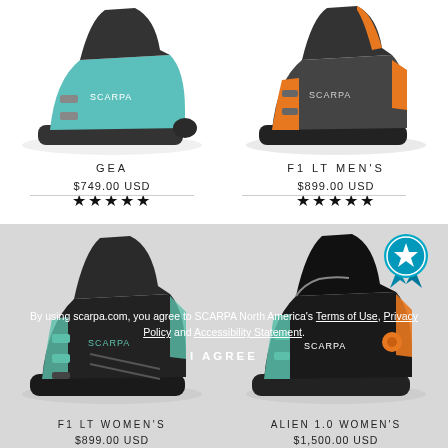[Figure (photo): SCARPA GEA ski boot in teal/black color, side view]
[Figure (photo): SCARPA F1 LT MEN'S ski boot in dark grey/orange color, side view]
GEA
$749.00 USD
★★★★★
F1 LT MEN'S
$899.00 USD
★★★★★
[Figure (photo): SCARPA F1 LT WOMEN'S ski boot in black/teal color, side view]
[Figure (photo): SCARPA ALIEN 1.0 WOMEN'S ski boot in black/teal/orange color, side view]
[Figure (illustration): Teal award badge with star icon]
By using scarpa.com, you agree to SCARPA North America's Terms of Use, Privacy Policy and Accessibility Statement.
I AGREE
F1 LT WOMEN'S
$899.00 USD
ALIEN 1.0 WOMEN'S
$1,500.00 USD